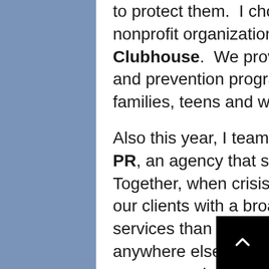to protect them. I chose to create a nonprofit organization: Christopher's Clubhouse. We provide safety education and prevention programs to children, families, teens and women.
Also this year, I teamed up with Cavalry PR, an agency that shares my vision. Together, when crisis strikes, we provide our clients with a broader range of services than they're going to find anywhere else — not only helping them manage and share their story but also helping them